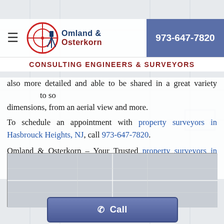Omland & Osterkorn – Consulting Engineers & Surveyors | 973-647-7820
also more detailed and able to be shared in a great variety of to so dimensions, from an aerial view and more.
To schedule an appointment with property surveyors in Hasbrouck Heights, NJ, call 973-647-7820.
Omland & Osterkorn – Your Trusted property surveyors in Hasbrouck Heights, NJ.
[Figure (map): Embedded Google Map showing location, gray placeholder map area]
Call